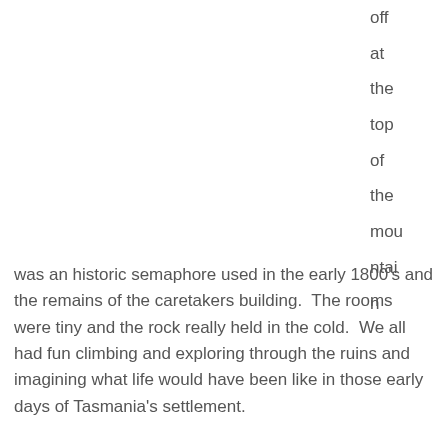off
at
the
top
of
the
mountain
was an historic semaphore used in the early 1800's and the remains of the caretakers building.  The rooms were tiny and the rock really held in the cold.  We all had fun climbing and exploring through the ruins and imagining what life would have been like in those early days of Tasmania's settlement.